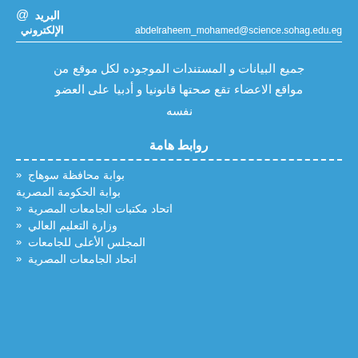@ البريد
abdelraheem_mohamed@science.sohag.edu.eg الإلكتروني
جميع البيانات و المستندات الموجوده لكل موقع من مواقع الاعضاء تقع صحتها قانونيا و أدبيا على العضو نفسه
روابط هامة
» بوابة محافظة سوهاج
بوابة الحكومة المصرية
» اتحاد مكتبات الجامعات المصرية
» وزارة التعليم العالي
» المجلس الأعلى للجامعات
» اتحاد الجامعات المصرية